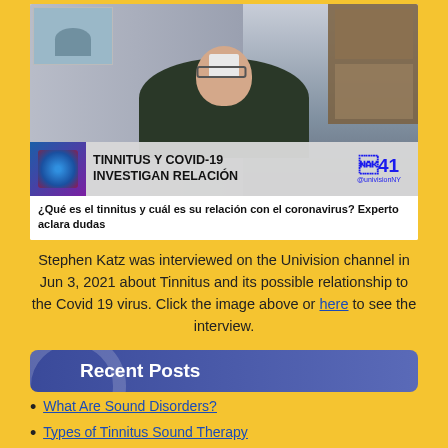[Figure (screenshot): Video screenshot of a TV interview on Univision channel 41. Shows a man in a dark jacket being interviewed via video call, with a small thumbnail of another person in the top-left corner. A banner at the bottom reads 'TINNITUS Y COVID-19 INVESTIGAN RELACIÓN' with the Univision 41 logo and @univisionNY handle.]
¿Qué es el tinnitus y cuál es su relación con el coronavirus? Experto aclara dudas
Stephen Katz was interviewed on the Univision channel in Jun 3, 2021 about Tinnitus and its possible relationship to the Covid 19 virus. Click the image above or here to see the interview.
Recent Posts
What Are Sound Disorders?
Types of Tinnitus Sound Therapy
Tinnitus Cure 2022
Tinnitus in One Ear Only?